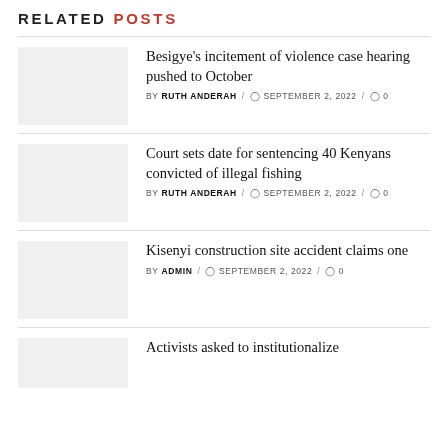Related Posts
Besigye's incitement of violence case hearing pushed to October | BY RUTH ANDERAH / SEPTEMBER 2, 2022 / 0
Court sets date for sentencing 40 Kenyans convicted of illegal fishing | BY RUTH ANDERAH / SEPTEMBER 2, 2022 / 0
Kisenyi construction site accident claims one | BY ADMIN / SEPTEMBER 2, 2022 / 0
Activists asked to institutionalize